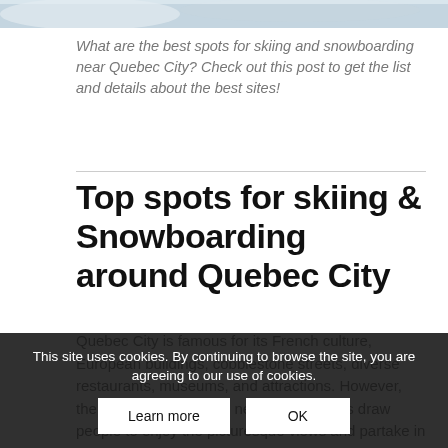[Figure (photo): Partial view of a person skiing or snowboarding in snowy conditions, shown from the torso down]
What are the best spots for skiing and snowboarding near Quebec City? Check out this post to get the list and details about the best sites!
Top spots for skiing & Snowboarding around Quebec City
Quebec City is famous for its French culture, European buildings, cobblestone streets, diverse restaurants, museums, and attractions. However, the fabled slopes in the nearby mountains draw people to enjoy the picturesque views and partake in outdoor adventure activities, including snowboarding. So, today's article will list the top spots for skiing and
This site uses cookies. By continuing to browse the site, you are agreeing to our use of cookies.